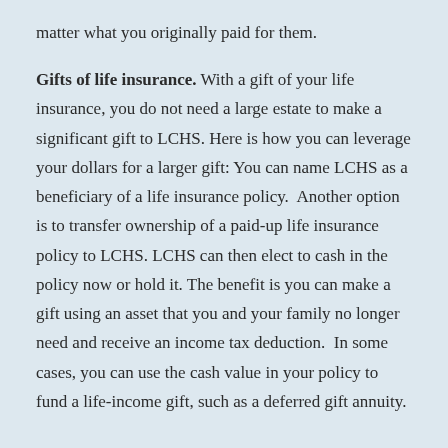matter what you originally paid for them.
Gifts of life insurance. With a gift of your life insurance, you do not need a large estate to make a significant gift to LCHS. Here is how you can leverage your dollars for a larger gift: You can name LCHS as a beneficiary of a life insurance policy.  Another option is to transfer ownership of a paid-up life insurance policy to LCHS. LCHS can then elect to cash in the policy now or hold it. The benefit is you can make a gift using an asset that you and your family no longer need and receive an income tax deduction.  In some cases, you can use the cash value in your policy to fund a life-income gift, such as a deferred gift annuity.